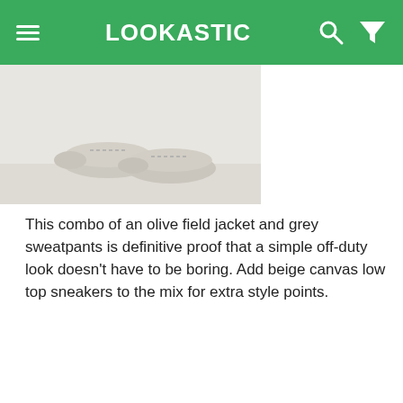LOOKASTIC
[Figure (photo): Partial view of beige canvas low top sneakers on a light grey background, cropped at the top of the page]
This combo of an olive field jacket and grey sweatpants is definitive proof that a simple off-duty look doesn't have to be boring. Add beige canvas low top sneakers to the mix for extra style points.